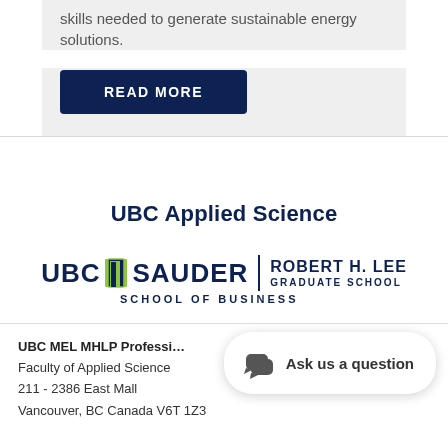skills needed to generate sustainable energy solutions.
[Figure (other): READ MORE button — dark navy blue rounded rectangle button with white bold uppercase text]
[Figure (logo): UBC Applied Science text logo in dark navy blue]
[Figure (logo): UBC Sauder School of Business | Robert H. Lee Graduate School logo with green door icon]
UBC MEL MHLP Professi…
Faculty of Applied Science
211 - 2386 East Mall
Vancouver, BC Canada V6T 1Z3
Ask us a question